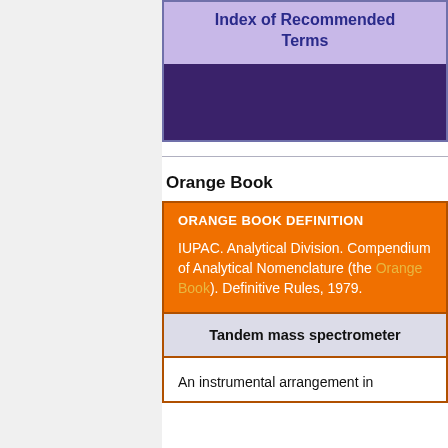[Figure (other): Top portion of a reference card box showing 'Index of Recommended Terms' in bold blue text on lavender background, with a dark purple band below]
Orange Book
[Figure (other): Orange Book definition card with orange header section labeled 'ORANGE BOOK DEFINITION' containing citation text, a light gray row with 'Tandem mass spectrometer', and a white row beginning 'An instrumental arrangement in']